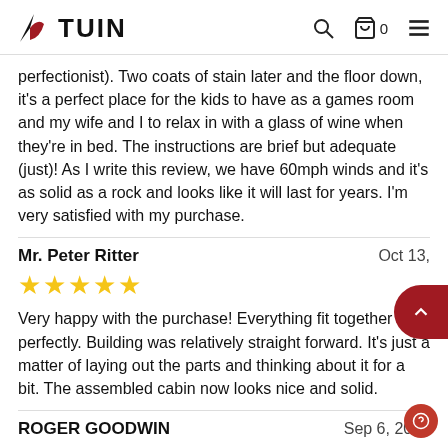TUIN
perfectionist). Two coats of stain later and the floor down, it's a perfect place for the kids to have as a games room and my wife and I to relax in with a glass of wine when they're in bed. The instructions are brief but adequate (just)! As I write this review, we have 60mph winds and it's as solid as a rock and looks like it will last for years. I'm very satisfied with my purchase.
Mr. Peter Ritter
Oct 13,
★★★★★
Very happy with the purchase! Everything fit together perfectly. Building was relatively straight forward. It's just a matter of laying out the parts and thinking about it for a bit. The assembled cabin now looks nice and solid.
ROGER GOODWIN
Sep 6, 2021